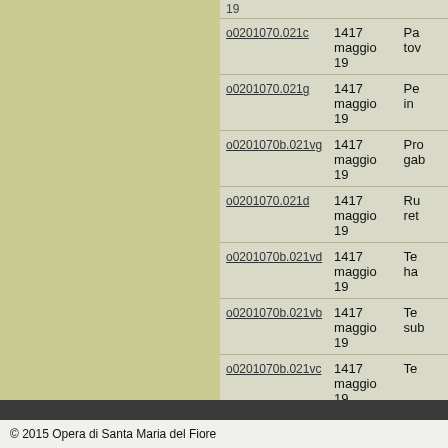| ID | Date | Description |
| --- | --- | --- |
| o0201070.021c | 1417 maggio 19 | Pa
tov |
| o0201070.021g | 1417 maggio 19 | Pe
in |
| o0201070b.021vg | 1417 maggio 19 | Pro
gab |
| o0201070.021d | 1417 maggio 19 | Ru
ret |
| o0201070b.021vd | 1417 maggio 19 | Te
ha |
| o0201070b.021vb | 1417 maggio 19 | Te
sub |
| o0201070b.021vc | 1417 maggio 19 | Te |
| o0201070b.021va | 1417 maggio 19 | Te
the
de |
© 2015 Opera di Santa Maria del Fiore